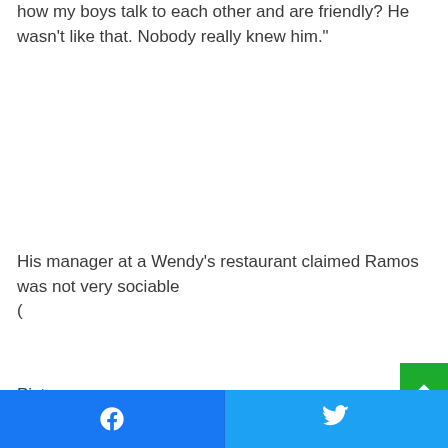how my boys talk to each other and are friendly? He wasn't like that. Nobody really knew him."
His manager at a Wendy's restaurant claimed Ramos was not very sociable
(
Picture:
[Figure (other): Green scroll-to-top button with upward arrow icon]
[Figure (other): Social share bar with Facebook and Twitter buttons]